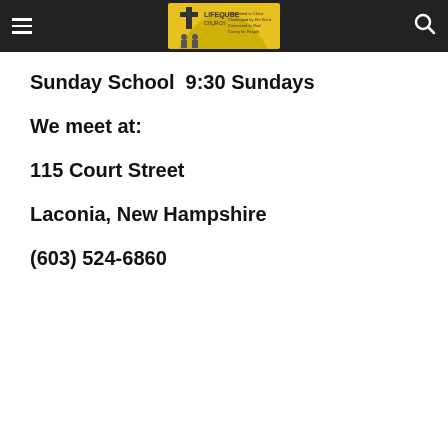Lifeqube Church — Committed to Christ, Challenged by His Word, Connected to God, Caring for People
Sunday School  9:30 Sundays
We meet at:
115 Court Street
Laconia, New Hampshire
(603) 524-6860